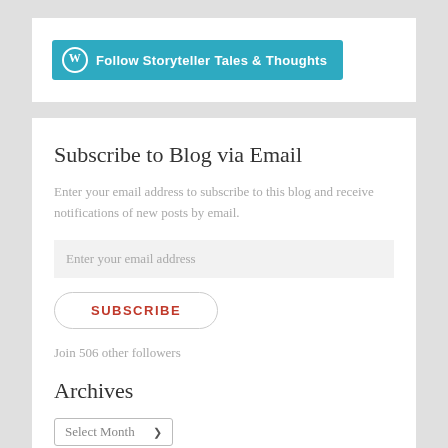[Figure (other): WordPress Follow button with teal background reading 'Follow Storyteller Tales & Thoughts']
Subscribe to Blog via Email
Enter your email address to subscribe to this blog and receive notifications of new posts by email.
Enter your email address
SUBSCRIBE
Join 506 other followers
Archives
Select Month